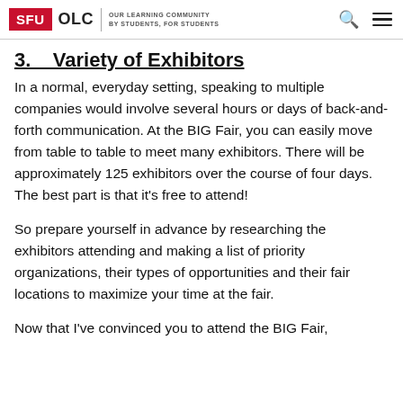SFU OLC | OUR LEARNING COMMUNITY BY STUDENTS, FOR STUDENTS
3.    Variety of Exhibitors
In a normal, everyday setting, speaking to multiple companies would involve several hours or days of back-and-forth communication. At the BIG Fair, you can easily move from table to table to meet many exhibitors. There will be approximately 125 exhibitors over the course of four days. The best part is that it's free to attend!
So prepare yourself in advance by researching the exhibitors attending and making a list of priority organizations, their types of opportunities and their fair locations to maximize your time at the fair.
Now that I've convinced you to attend the BIG Fair,